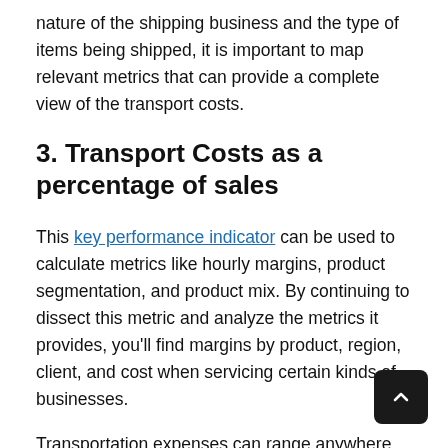nature of the shipping business and the type of items being shipped, it is important to map relevant metrics that can provide a complete view of the transport costs.
3.  Transport Costs as a percentage of sales
This key performance indicator can be used to calculate metrics like hourly margins, product segmentation, and product mix. By continuing to dissect this metric and analyze the metrics it provides, you'll find margins by product, region, client, and cost when servicing certain kinds of businesses.
Transportation expenses can range anywhere from 8% to depending on the size of the enterprise, items being transported, and the dispatch team's efficiency. It is an antique fact that smaller businesses struggle with high levels of